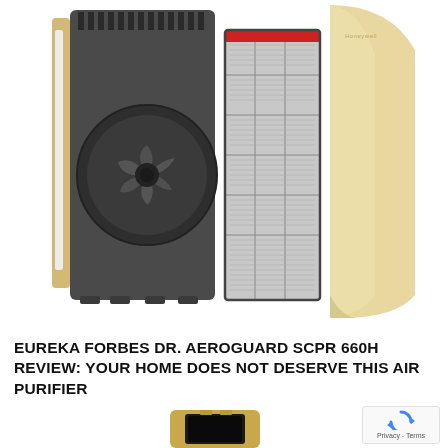[Figure (photo): Exploded view of an air purifier (Eureka Forbes / Honeywell style) showing the back casing with fan, HEPA filter panel, outer front cover in gold/beige, with a white background.]
EUREKA FORBES DR. AEROGUARD SCPR 660H REVIEW: YOUR HOME DOES NOT DESERVE THIS AIR PURIFIER
[Figure (photo): Partial bottom image: a gold/bronze colored small air purifier device visible from below the fold.]